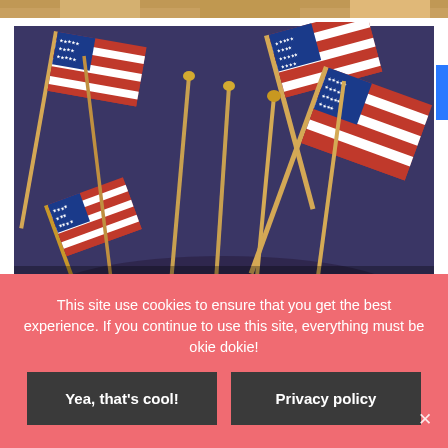[Figure (photo): Partial view of food/baked goods at the top of the page, cropped]
[Figure (photo): Multiple small American flags on wooden sticks arranged in a circular holder or bucket, viewed from above and at an angle, colorful red white and blue flags]
This site use cookies to ensure that you get the best experience. If you continue to use this site, everything must be okie dokie!
Yea, that's cool!
Privacy policy